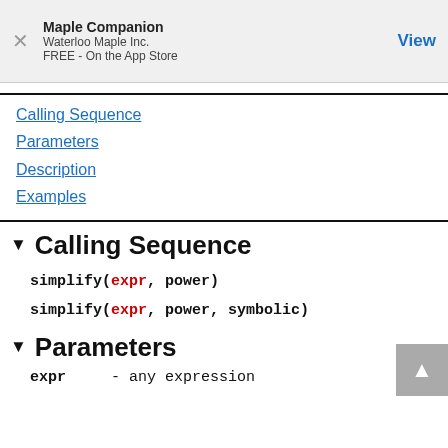Maple Companion
Waterloo Maple Inc.
FREE - On the App Store
View
Calling Sequence
Parameters
Description
Examples
Calling Sequence
simplify(expr, power)
simplify(expr, power, symbolic)
Parameters
expr   - any expression